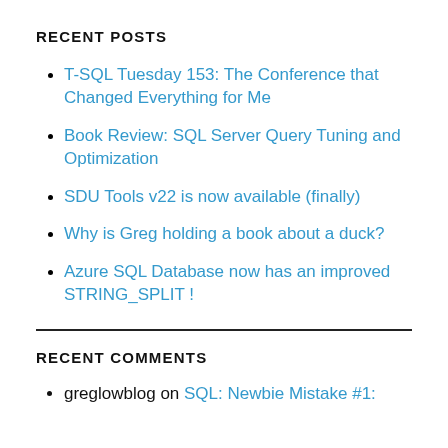RECENT POSTS
T-SQL Tuesday 153: The Conference that Changed Everything for Me
Book Review: SQL Server Query Tuning and Optimization
SDU Tools v22 is now available (finally)
Why is Greg holding a book about a duck?
Azure SQL Database now has an improved STRING_SPLIT !
RECENT COMMENTS
greglowblog on SQL: Newbie Mistake #1: